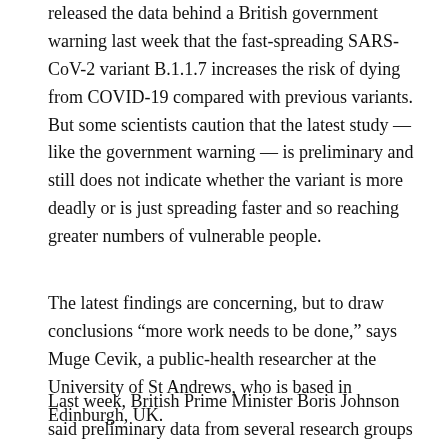released the data behind a British government warning last week that the fast-spreading SARS-CoV-2 variant B.1.1.7 increases the risk of dying from COVID-19 compared with previous variants. But some scientists caution that the latest study — like the government warning — is preliminary and still does not indicate whether the variant is more deadly or is just spreading faster and so reaching greater numbers of vulnerable people.
The latest findings are concerning, but to draw conclusions “more work needs to be done,” says Muge Cevik, a public-health researcher at the University of St Andrews, who is based in Edinburgh, UK.
Last week, British Prime Minister Boris Johnson said preliminary data from several research groups